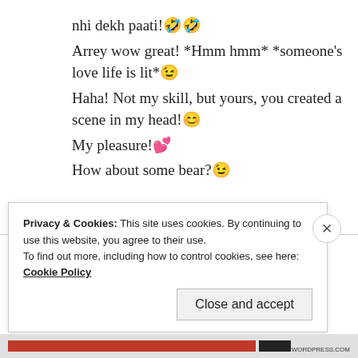nhi dekh paati!🤣🤣
Arrey wow great! *Hmm hmm* *someone's love life is lit*😉
Haha! Not my skill, but yours, you created a scene in my head!😊
My pleasure!💕
How about some bear?😉
★ Like
Privacy & Cookies: This site uses cookies. By continuing to use this website, you agree to their use.
To find out more, including how to control cookies, see here: Cookie Policy
Close and accept